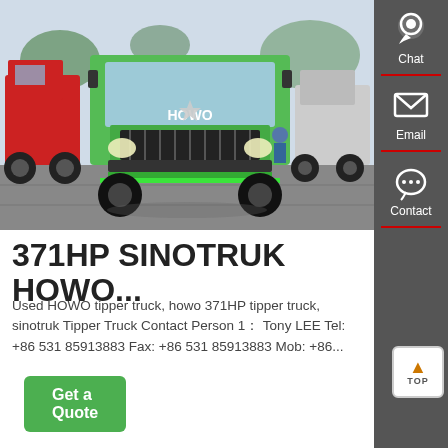[Figure (photo): Front view of a green HOWO 371HP Sinotruk tipper truck in a truck yard, with red trucks on the left and white/grey trucks on the right, parked on a paved area with trees in the background.]
371HP SINOTRUK HOWO...
Used HOWO tipper truck, howo 371HP tipper truck, sinotruk Tipper Truck Contact Person 1： Tony LEE Tel: +86 531 85913883 Fax: +86 531 85913883 Mob: +86...
[Figure (infographic): Dark grey sidebar with Chat (person icon), Email (envelope icon), and Contact (speech bubble icon) buttons, separated by red dividers. A TOP back-to-top button appears at lower right.]
Get a Quote